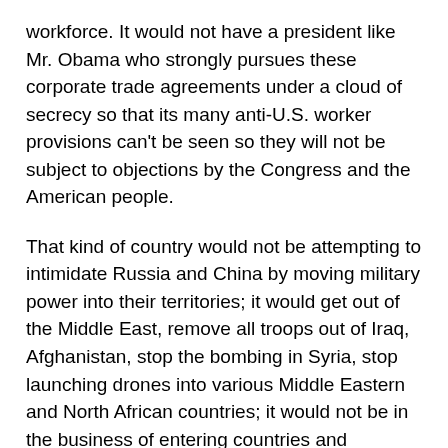workforce. It would not have a president like Mr. Obama who strongly pursues these corporate trade agreements under a cloud of secrecy so that its many anti-U.S. worker provisions can't be seen so they will not be subject to objections by the Congress and the American people.
That kind of country would not be attempting to intimidate Russia and China by moving military power into their territories; it would get out of the Middle East, remove all troops out of Iraq, Afghanistan, stop the bombing in Syria, stop launching drones into various Middle Eastern and North African countries; it would not be in the business of entering countries and removing dictators like Saddam Hussein or Muammar Gaddafi from power.
The restoration of greatness to America will never materialize unless and until we witness that political revolution that will we